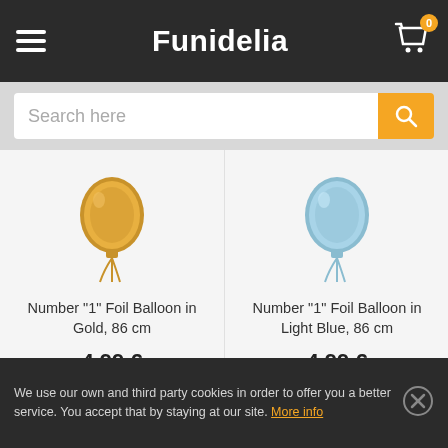Funidelia
[Figure (screenshot): Search bar with text 'Search here' and orange search button]
[Figure (photo): Number 1 Foil Balloon in Gold, 86 cm - product image]
Number "1" Foil Balloon in Gold, 86 cm
4,99 €
[Figure (photo): Number 1 Foil Balloon in Light Blue, 86 cm - product image]
Number "1" Foil Balloon in Light Blue, 86 cm
4,99 €
We use our own and third party cookies in order to offer you a better service. You accept that by staying at our site. More info